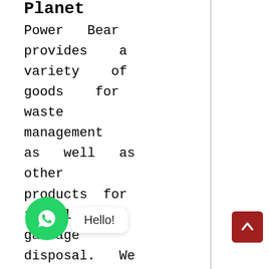Planet
Power Bear provides a variety of goods for waste management as well as other products for recycling and garbage disposal. We create and produce b. a variety of